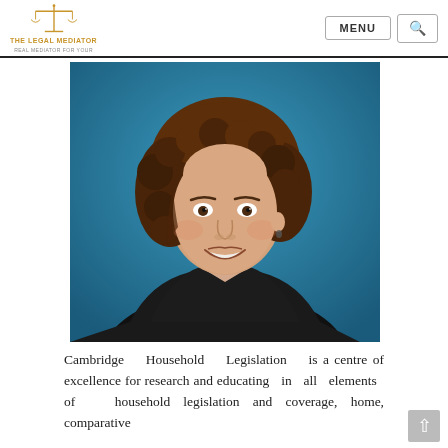THE LEGAL MEDIATOR — MENU [search]
[Figure (photo): Professional headshot of a woman with curly brown hair, wearing a black blazer and pearl necklace, smiling, against a teal/blue background.]
Cambridge Household Legislation is a centre of excellence for research and educating in all elements of household legislation and coverage, home, comparative